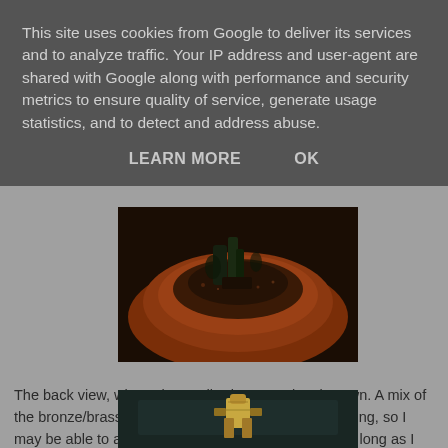This site uses cookies from Google to deliver its services and to analyze traffic. Your IP address and user-agent are shared with Google along with performance and security metrics to ensure quality of service, generate usage statistics, and to detect and address abuse.
LEARN MORE   OK
[Figure (photo): Top-down view of a miniature figure in a terracotta pot with dark soil, showing bronze/verdigris weathering effects on a dark background]
The back view, where the verdi-gris comes into it's own. A mix of the bronze/brass effects I like with a touch of weathering, so I may be able to add it to the Tactical squad afterall, so long as I am subtle about it. Still might make the skull on the back 'dirty white'...
[Figure (photo): Partial view of a painted miniature figure (Warhammer-style) against a dark teal/grey background, showing metallic gold and dark tones]